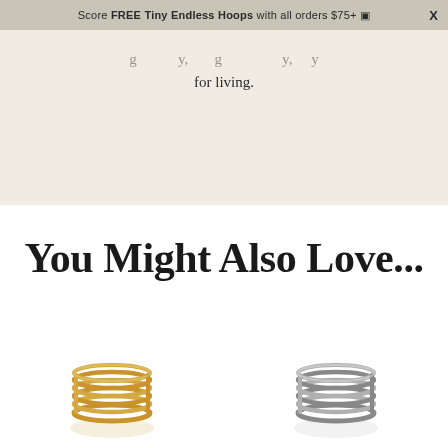Score FREE Tiny Endless Hoops with all orders $75+  X
for living.
You Might Also Love...
[Figure (photo): Two jewelry rings at the bottom of the page: a gold multi-band ring on the left and a silver multi-band ring on the right.]